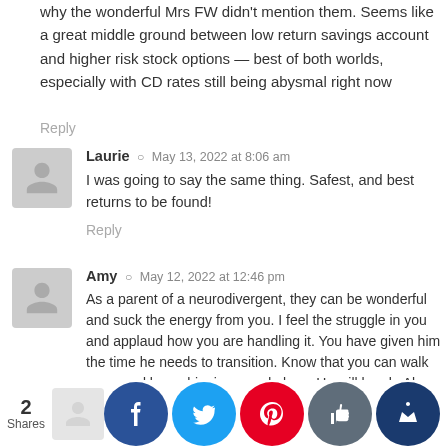why the wonderful Mrs FW didn't mention them. Seems like a great middle ground between low return savings account and higher risk stock options — best of both worlds, especially with CD rates still being abysmal right now
Reply
Laurie · May 13, 2022 at 8:06 am
I was going to say the same thing. Safest, and best returns to be found!
Reply
Amy · May 12, 2022 at 12:46 pm
As a parent of a neurodivergent, they can be wonderful and suck the energy from you. I feel the struggle in you and applaud how you are handling it. You have given him the time he needs to transition. Know that you can walk away and leave him in a good place. He will be ok. Also he may act like now that you are out of his life , you don't matter to him. But you do.
Reply
2 Shares
Awesome case study. I agree with others that you should ke...